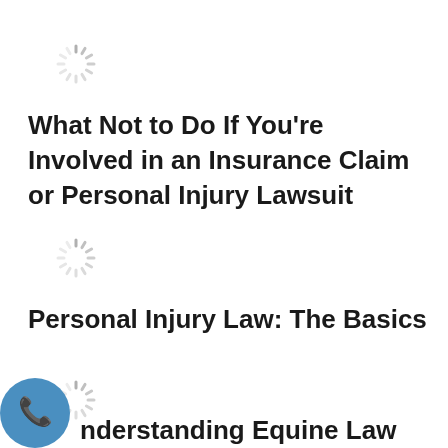[Figure (other): Loading spinner icon (gray radial lines)]
What Not to Do If You're Involved in an Insurance Claim or Personal Injury Lawsuit
[Figure (other): Loading spinner icon (gray radial lines)]
Personal Injury Law: The Basics
[Figure (other): Loading spinner icon (gray radial lines)]
[Figure (other): Blue circular phone/call button in bottom-left corner]
nderstanding Equine Law